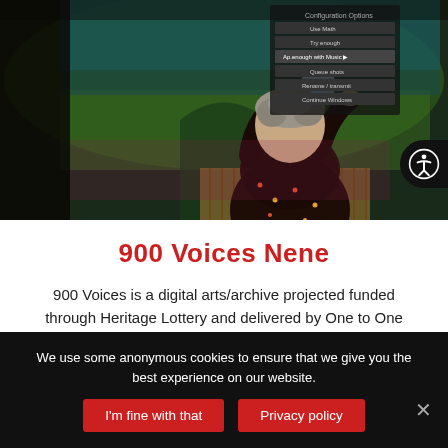[Figure (photo): A person (seen from behind) with curly grey hair holds up a smartphone to photograph a large immersive projection showing a landscape/river scene with a dropdown menu overlay. Warm dark room with wooden paneling.]
900 Voices Nene
900 Voices is a digital arts/archive projected funded through Heritage Lottery and delivered by One to One Development Trust for Nenescape.
We use some anonymous cookies to ensure that we give you the best experience on our website.